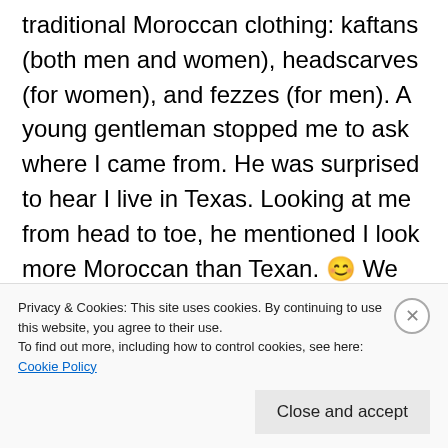traditional Moroccan clothing: kaftans (both men and women), headscarves (for women), and fezzes (for men). A young gentleman stopped me to ask where I came from. He was surprised to hear I live in Texas. Looking at me from head to toe, he mentioned I look more Moroccan than Texan. 😊 We had a great conversation about life in Chefchaouen and his country's colorful history but I was beginning to get antsy, eager to explore some more. It was perfect timing when my son called to find out where I was. We met up and the adventure
Privacy & Cookies: This site uses cookies. By continuing to use this website, you agree to their use.
To find out more, including how to control cookies, see here: Cookie Policy
Close and accept